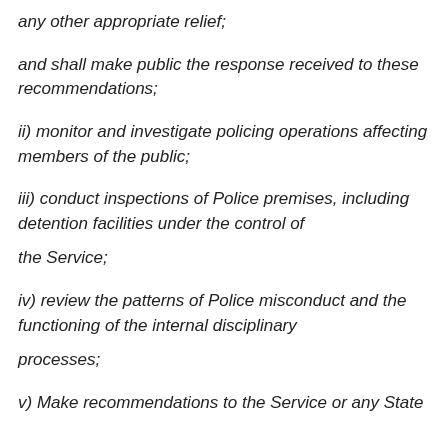any other appropriate relief;
and shall make public the response received to these recommendations;
ii) monitor and investigate policing operations affecting members of the public;
iii) conduct inspections of Police premises, including detention facilities under the control of the Service;
iv) review the patterns of Police misconduct and the functioning of the internal disciplinary processes;
v) Make recommendations to the Service or any State